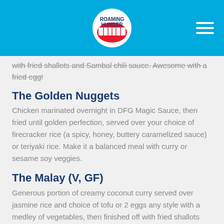Roaming Hunger
with fried shallots and Sambal chili sauce. Awesome with a fried egg!
The Golden Nuggets
Chicken marinated overnight in DFG Magic Sauce, then fried until golden perfection, served over your choice of firecracker rice (a spicy, honey, buttery caramelized sauce) or teriyaki rice. Make it a balanced meal with curry or sesame soy veggies.
The Malay (V, GF)
Generous portion of creamy coconut curry served over jasmine rice and choice of tofu or 2 eggs any style with a medley of vegetables, then finished off with fried shallots and refreshing cucumber.
The Concubine